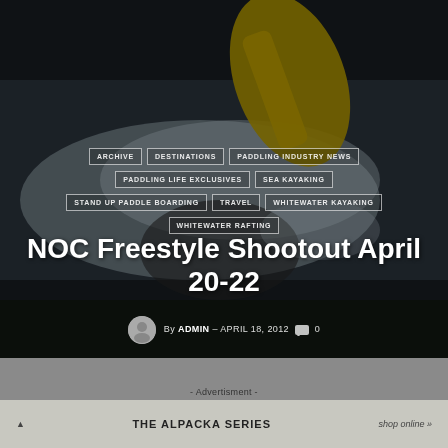[Figure (photo): Action photo of a kayaker paddling through whitewater rapids, with a yellow paddle visible and white water splashing around the kayaker]
ARCHIVE
DESTINATIONS
PADDLING INDUSTRY NEWS
PADDLING LIFE EXCLUSIVES
SEA KAYAKING
STAND UP PADDLE BOARDING
TRAVEL
WHITEWATER KAYAKING
WHITEWATER RAFTING
NOC Freestyle Shootout April 20-22
By ADMIN – APRIL 18, 2012  0
- Advertisment -
- Advertisement -
THE ALPACKA SERIES
shop online